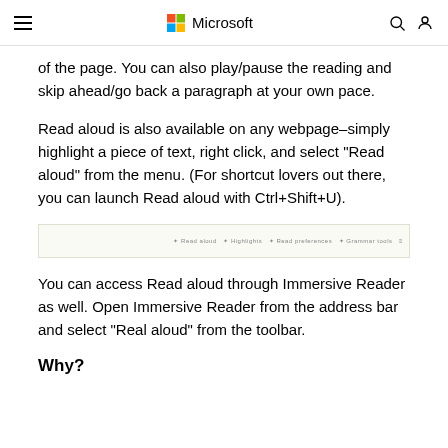Microsoft
of the page. You can also play/pause the reading and skip ahead/go back a paragraph at your own pace.
Read aloud is also available on any webpage–simply highlight a piece of text, right click, and select "Read aloud" from the menu. (For shortcut lovers out there, you can launch Read aloud with Ctrl+Shift+U).
[Figure (screenshot): Browser toolbar screenshot showing Read aloud and related options]
You can access Read aloud through Immersive Reader as well. Open Immersive Reader from the address bar and select “Real aloud” from the toolbar.
Why?